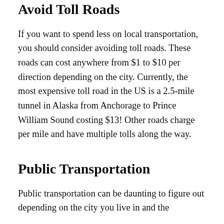Avoid Toll Roads
If you want to spend less on local transportation, you should consider avoiding toll roads. These roads can cost anywhere from $1 to $10 per direction depending on the city. Currently, the most expensive toll road in the US is a 2.5-mile tunnel in Alaska from Anchorage to Prince William Sound costing $13! Other roads charge per mile and have multiple tolls along the way.
Public Transportation
Public transportation can be daunting to figure out depending on the city you live in and the